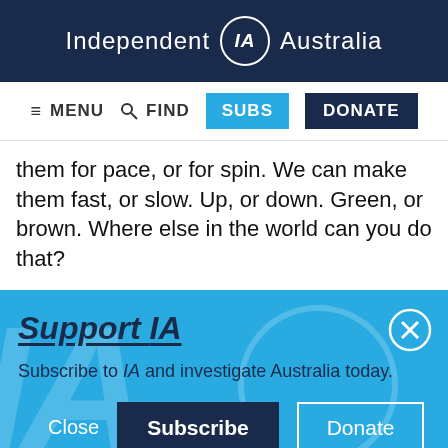Independent IA Australia
≡ MENU  🔍 FIND  SUBS  DONATE
them for pace, or for spin. We can make them fast, or slow. Up, or down. Green, or brown. Where else in the world can you do that?
Support IA
Subscribe to IA and investigate Australia today.
Close  Subscribe  Donate
Twitter  Facebook  LinkedIn  Flipboard  Link  More